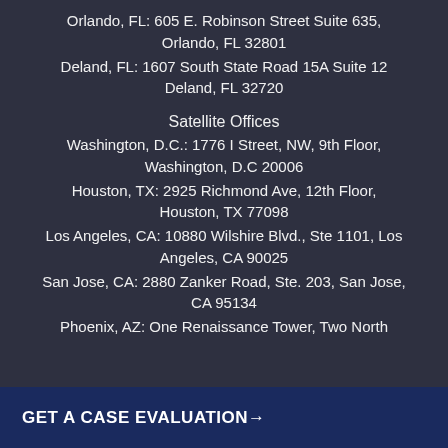Orlando, FL: 605 E. Robinson Street Suite 635, Orlando, FL 32801
Deland, FL: 1607 South State Road 15A Suite 12 Deland, FL 32720
Satellite Offices
Washington, D.C.: 1776 I Street, NW, 9th Floor, Washington, D.C 20006
Houston, TX: 2925 Richmond Ave, 12th Floor, Houston, TX 77098
Los Angeles, CA: 10880 Wilshire Blvd., Ste 1101, Los Angeles, CA 90025
San Jose, CA: 2880 Zanker Road, Ste. 203, San Jose, CA 95134
Phoenix, AZ: One Renaissance Tower, Two North
GET A CASE EVALUATION→